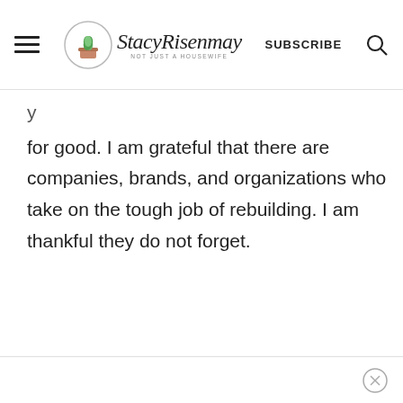StacyRisenmay – Not Just a Housewife (blog header with logo, SUBSCRIBE, search icon)
for good. I am grateful that there are companies, brands, and organizations who take on the tough job of rebuilding. I am thankful they do not forget.
(close/X button)